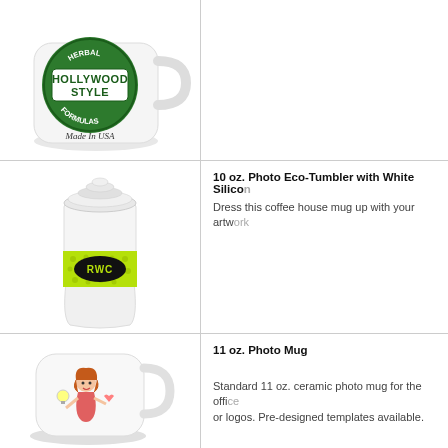[Figure (photo): White ceramic mug with green Hollywood Style Herbal Formulas Made in USA logo]
[Figure (photo): 10 oz Photo Eco-Tumbler with white silicone lid, green patterned sleeve with RWC text]
10 oz. Photo Eco-Tumbler with White Silico...
Dress this coffee house mug up with your artw...
[Figure (photo): 11 oz white ceramic photo mug with cartoon girl artwork]
11 oz. Photo Mug
Standard 11 oz. ceramic photo mug for the offi... or logos. Pre-designed templates available.